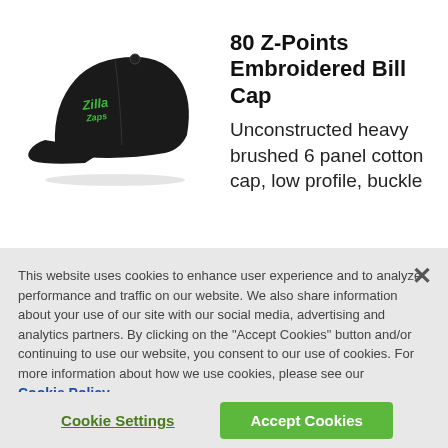[Figure (photo): Black embroidered bill cap (baseball cap) with green Zilla logo on the front panel, shown on a white background.]
80 Z-Points Embroidered Bill Cap
Unconstructed heavy brushed 6 panel cotton cap, low profile, buckle
This website uses cookies to enhance user experience and to analyze performance and traffic on our website. We also share information about your use of our site with our social media, advertising and analytics partners. By clicking on the "Accept Cookies" button and/or continuing to use our website, you consent to our use of cookies. For more information about how we use cookies, please see our Cookie Policy.
Cookie Settings
Accept Cookies